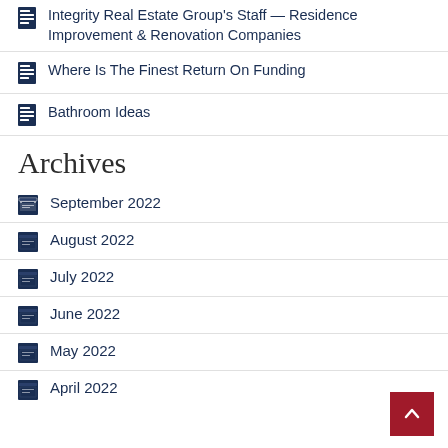Integrity Real Estate Group's Staff — Residence Improvement & Renovation Companies
Where Is The Finest Return On Funding
Bathroom Ideas
Archives
September 2022
August 2022
July 2022
June 2022
May 2022
April 2022